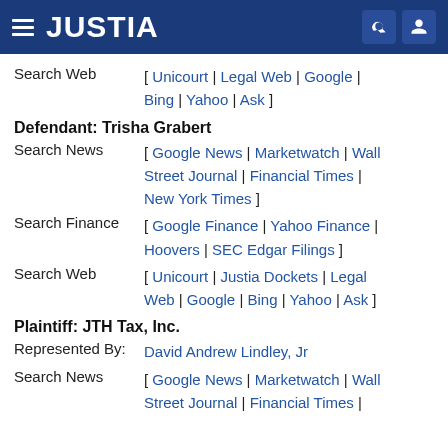JUSTIA
Search Web [ Unicourt | Legal Web | Google | Bing | Yahoo | Ask ]
Defendant: Trisha Grabert
Search News [ Google News | Marketwatch | Wall Street Journal | Financial Times | New York Times ]
Search Finance [ Google Finance | Yahoo Finance | Hoovers | SEC Edgar Filings ]
Search Web [ Unicourt | Justia Dockets | Legal Web | Google | Bing | Yahoo | Ask ]
Plaintiff: JTH Tax, Inc.
Represented By: David Andrew Lindley, Jr
Search News [ Google News | Marketwatch | Wall Street Journal | Financial Times |